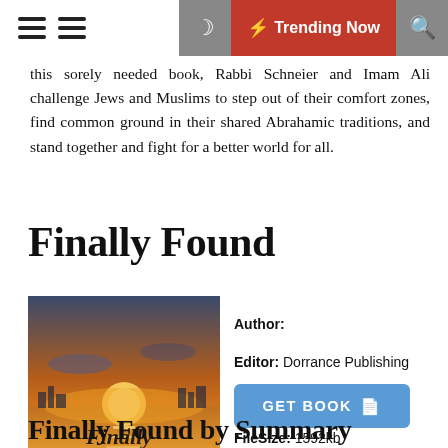Trending Now
this sorely needed book, Rabbi Schneier and Imam Ali challenge Jews and Muslims to step out of their comfort zones, find common ground in their shared Abrahamic traditions, and stand together and fight for a better world for all.
Finally Found
[Figure (photo): Book cover of 'Finally Found' by Gina Marie Sisbarro, showing a sunset over water with the title in italic serif font.]
Author:
Editor: Dorrance Publishing
ISBN: 1434910784
FileSize: 1592kb
File Format: Pdf
Read: 1592
GET BOOK
Finally Found by Summary